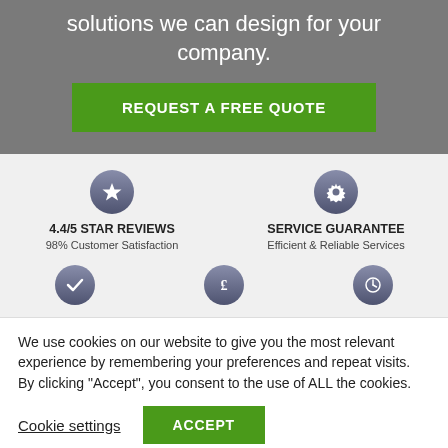solutions we can design for your company.
REQUEST A FREE QUOTE
4.4/5 STAR REVIEWS
98% Customer Satisfaction
SERVICE GUARANTEE
Efficient & Reliable Services
We use cookies on our website to give you the most relevant experience by remembering your preferences and repeat visits. By clicking “Accept”, you consent to the use of ALL the cookies.
Cookie settings
ACCEPT